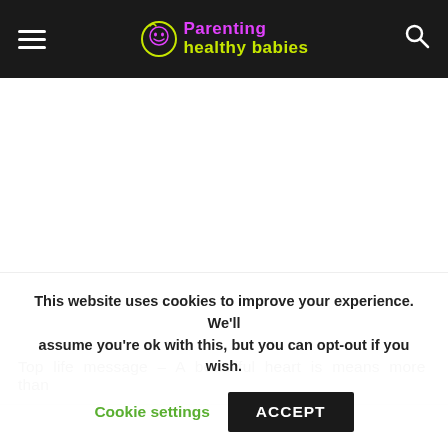Parenting healthy babies
[Figure (other): White advertisement/content area placeholder below the site header]
Top life message – A beautiful heart is means more than
This website uses cookies to improve your experience. We'll assume you're ok with this, but you can opt-out if you wish. Cookie settings ACCEPT